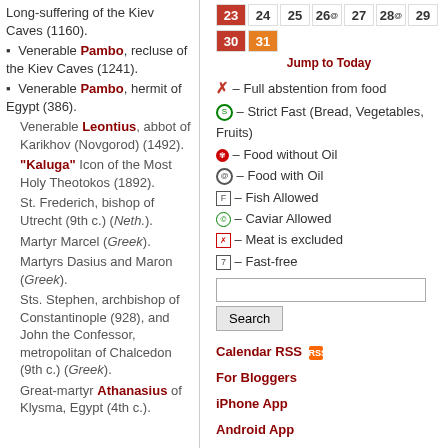Long-suffering of the Kiev Caves (1160).
Venerable Pambo, recluse of the Kiev Caves (1241).
Venerable Pambo, hermit of Egypt (386).
Venerable Leontius, abbot of Karikhov (Novgorod) (1492).
"Kaluga" Icon of the Most Holy Theotokos (1892).
St. Frederich, bishop of Utrecht (9th c.) (Neth.).
Martyr Marcel (Greek).
Martyrs Dasius and Maron (Greek).
Sts. Stephen, archbishop of Constantinople (928), and John the Confessor, metropolitan of Chalcedon (9th c.) (Greek).
Great-martyr Athanasius of Klysma, Egypt (4th c.).
| 23 | 24 | 25 | 26 | 27 | 28 | 29 |
| --- | --- | --- | --- | --- | --- | --- |
| 30 | 31 |  |  |  |  |  |
Jump to Today
x – Full abstention from food
S – Strict Fast (Bread, Vegetables, Fruits)
– Food without Oil
– Food with Oil
F – Fish Allowed
C – Caviar Allowed
M – Meat is excluded
7 – Fast-free
Search
Calendar RSS | For Bloggers | iPhone App | Android App | For Webmasters | Websites with Calendar | About Calendar | New Calendar Version
Paschalion
Feb 05 – Sunday of the Publican and Pharisee